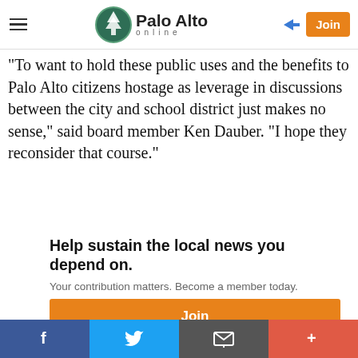Palo Alto Online — header with hamburger menu, logo, login arrow, and Join button
"To want to hold these public uses and the benefits to Palo Alto citizens hostage as leverage in discussions between the city and school district just makes no sense," said board member Ken Dauber. "I hope they reconsider that course."
Help sustain the local news you depend on.
Your contribution matters. Become a member today.
Join
Your 2016
Social sharing bar: Facebook, Twitter, Email, More